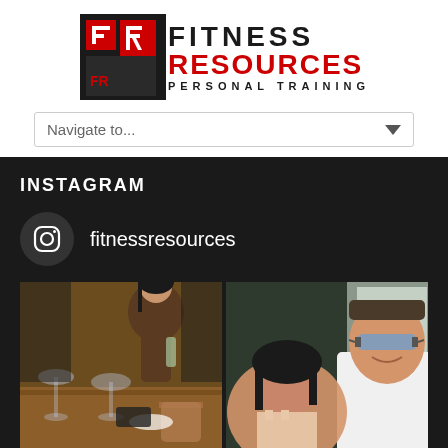[Figure (logo): Fitness Resources Personal Training logo with FR icon in red/black geometric design and text FITNESS RESOURCES PERSONAL TRAINING]
Navigate to...
INSTAGRAM
fitnessresources
[Figure (photo): Two Instagram photos side by side: left shows a woman at a restaurant table with drinks; right shows a couple taking a selfie]